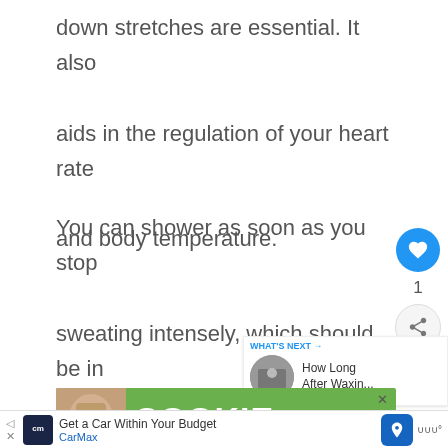down stretches are essential. It also aids in the regulation of your heart rate and body temperature.
You can shower as soon as you stop sweating intensely, which should be in about 20-30 minutes.
[Figure (screenshot): Social media sidebar with heart/like button (blue circle with heart icon), like count of 1, and share button (grey circle with share icon)]
[Figure (screenshot): What's Next panel showing a circular thumbnail image and text 'How Long After Waxin...']
[Figure (screenshot): Cookie consent banner with green background showing partial face image and large white COOKIE text with close X button]
[Figure (screenshot): Bottom advertisement bar for CarMax: 'Get a Car Within Your Budget' with CarMax logo, navigation icon and weather widget]